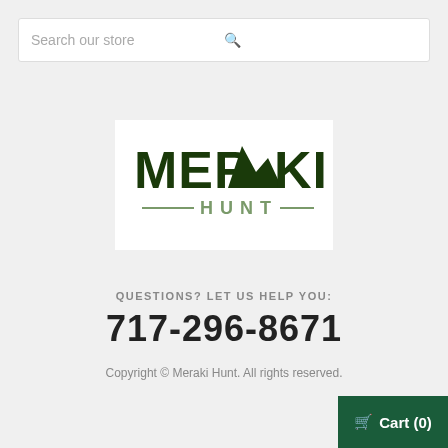[Figure (screenshot): Search bar with placeholder text 'Search our store' and a search icon on the right]
[Figure (logo): Meraki Hunt logo with mountain silhouette over the letter A in MERAKI, dark green bold text, with HUNT below separated by horizontal lines]
QUESTIONS? LET US HELP YOU:
717-296-8671
Copyright © Meraki Hunt. All rights reserved.
[Figure (screenshot): Dark green cart button in bottom right corner showing a cart icon and 'Cart (0)']